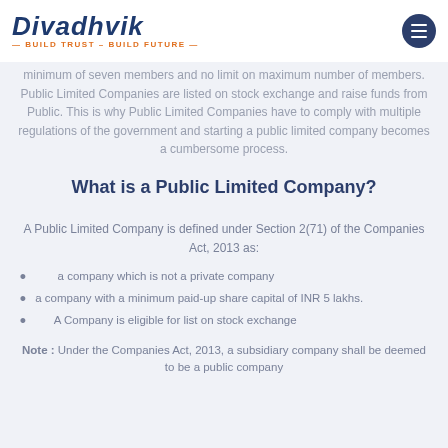Divadhvik — BUILD TRUST – BUILD FUTURE
minimum of seven members and no limit on maximum number of members. Public Limited Companies are listed on stock exchange and raise funds from Public. This is why Public Limited Companies have to comply with multiple regulations of the government and starting a public limited company becomes a cumbersome process.
What is a Public Limited Company?
A Public Limited Company is defined under Section 2(71) of the Companies Act, 2013 as:
a company which is not a private company
a company with a minimum paid-up share capital of INR 5 lakhs.
A Company is eligible for list on stock exchange
Note : Under the Companies Act, 2013, a subsidiary company shall be deemed to be a public company